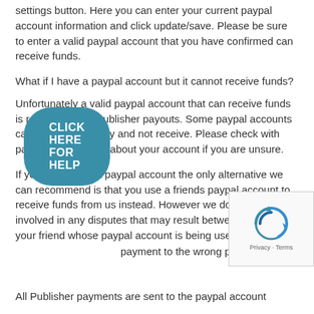settings button. Here you can enter your current paypal account information and click update/save. Please be sure to enter a valid paypal account that you have confirmed can receive funds.
What if I have a paypal account but it cannot receive funds?
Unfortunately a valid paypal account that can receive funds is required for all Publisher payouts. Some paypal accounts can only send money and not receive. Please check with paypal.com support about your account if you are unsure.
If you cannot get a paypal account the only alternative we can recommend is that you use a friends paypal account to receive funds from us instead. However we dont get involved in any disputes that may result between you and your friend whose paypal account is being used.
…payment to the wrong pay…
All Publisher payments are sent to the paypal account